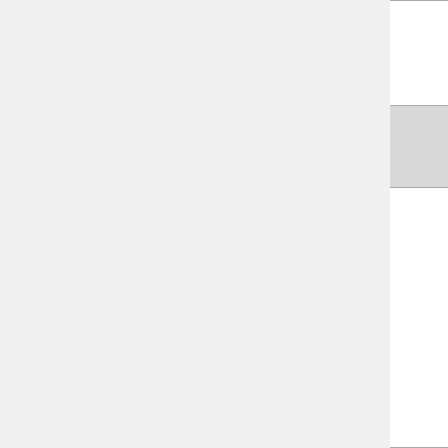| Day | Time |  | Icon | Ver. | E |
| --- | --- | --- | --- | --- | --- |
| Tuesday |  | Q2 | [gear icon] |  |  |
|  |  | Lunch |  | V3 Impl | In L |
|  | PM | Q3 | [gear icon] | v2.8 | T d N P A N P d In R |
|  |  | Q4 | [gear icon] | v2.x | II |
| Day | Time |  | Icon | Ver. | E |
|  |  |  | [gear icon partial] | d |  |